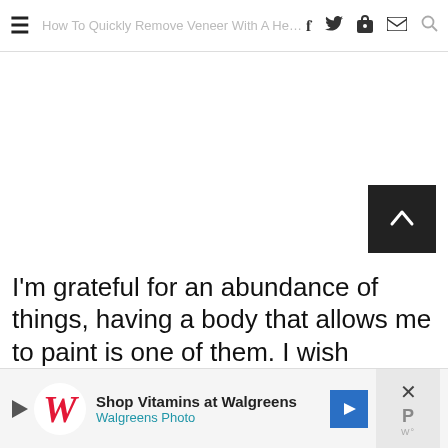How To Quickly Remove Veneer With A Heat Gun
I'm grateful for an abundance of things, having a body that allows me to paint is one of them. I wish
[Figure (screenshot): Walgreens advertisement banner: Shop Vitamins at Walgreens / Walgreens Photo]